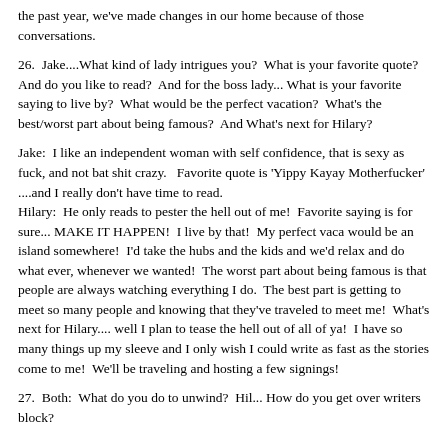the past year, we've made changes in our home because of those conversations.
26.  Jake....What kind of lady intrigues you?  What is your favorite quote?  And do you like to read?  And for the boss lady... What is your favorite saying to live by?  What would be the perfect vacation?  What's the best/worst part about being famous?  And What's next for Hilary?
Jake:  I like an independent woman with self confidence, that is sexy as fuck, and not bat shit crazy.   Favorite quote is 'Yippy Kayay Motherfucker' ....and I really don't have time to read.
Hilary:  He only reads to pester the hell out of me!  Favorite saying is for sure... MAKE IT HAPPEN!  I live by that!  My perfect vaca would be an island somewhere!  I'd take the hubs and the kids and we'd relax and do what ever, whenever we wanted!  The worst part about being famous is that people are always watching everything I do.  The best part is getting to meet so many people and knowing that they've traveled to meet me!  What's next for Hilary.... well I plan to tease the hell out of all of ya!  I have so many things up my sleeve and I only wish I could write as fast as the stories come to me!  We'll be traveling and hosting a few signings!
27.  Both:  What do you do to unwind?  Hil... How do you get over writers block?